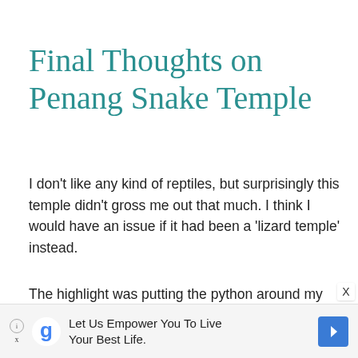Final Thoughts on Penang Snake Temple
I don't like any kind of reptiles, but surprisingly this temple didn't gross me out that much. I think I would have an issue if it had been a 'lizard temple' instead.
The highlight was putting the python around my neck. Earlier in the day, I had completed the world's highest rope-course challenge at Komtar.
[Figure (other): Advertisement banner at bottom: Google 'g' logo with text 'Let Us Empower You To Live Your Best Life.' and a blue navigation arrow icon on the right. Small info/close icons on left.]